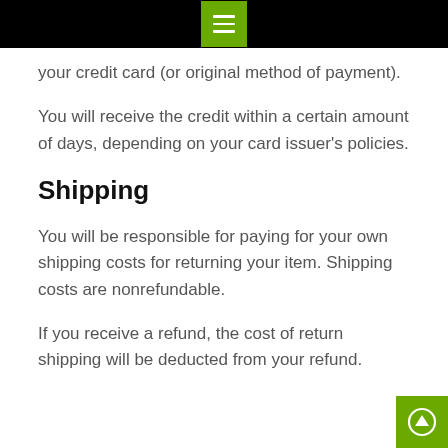your credit card (or original method of payment).
You will receive the credit within a certain amount of days, depending on your card issuer's policies.
Shipping
You will be responsible for paying for your own shipping costs for returning your item. Shipping costs are nonrefundable.
If you receive a refund, the cost of return shipping will be deducted from your refund.